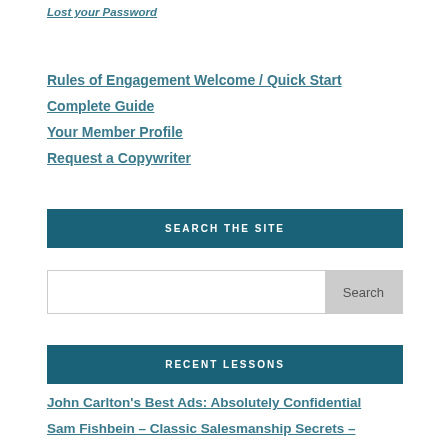Lost your Password
Rules of Engagement Welcome / Quick Start
Complete Guide
Your Member Profile
Request a Copywriter
SEARCH THE SITE
[Figure (other): Search input box with Search button]
RECENT LESSONS
John Carlton's Best Ads: Absolutely Confidential
Sam Fishbein – Classic Salesmanship Secrets – Scuttlebutt Session